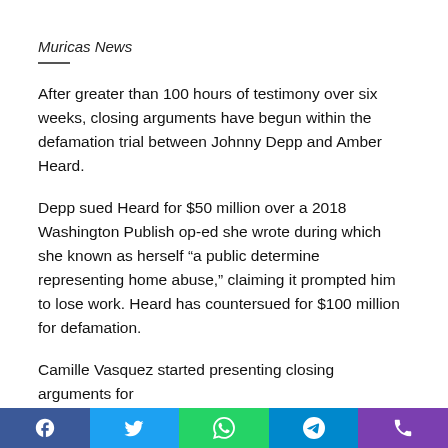Muricas News
After greater than 100 hours of testimony over six weeks, closing arguments have begun within the defamation trial between Johnny Depp and Amber Heard.
Depp sued Heard for $50 million over a 2018 Washington Publish op-ed she wrote during which she known as herself “a public determine representing home abuse,” claiming it prompted him to lose work. Heard has countersued for $100 million for defamation.
Camille Vasquez started presenting closing arguments for